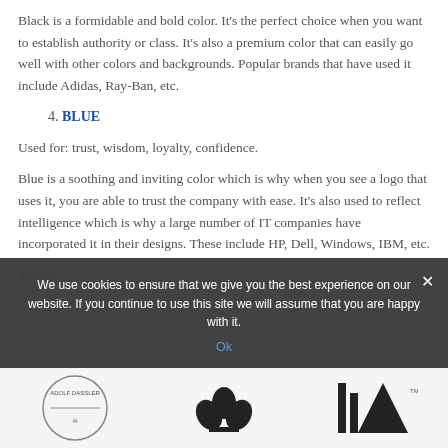Black is a formidable and bold color. It’s the perfect choice when you want to establish authority or class. It’s also a premium color that can easily go well with other colors and backgrounds. Popular brands that have used it include Adidas, Ray-Ban, etc.
4. BLUE
Used for: trust, wisdom, loyalty, confidence.
Blue is a soothing and inviting color which is why when you see a logo that uses it, you are able to trust the company with ease. It’s also used to reflect intelligence which is why a large number of IT companies have incorporated it in their designs. These include HP, Dell, Windows, IBM, etc.
Similar...
[Figure (photo): Bottom bar showing logo images including Adolf Dassler and Adidas logos]
We use cookies to ensure that we give you the best experience on our website. If you continue to use this site we will assume that you are happy with it.